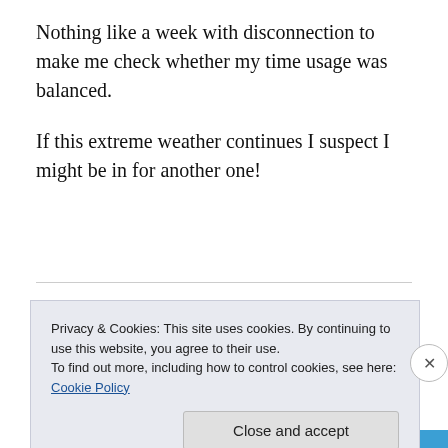Nothing like a week with disconnection to make me check whether my time usage was balanced.
If this extreme weather continues I suspect I might be in for another one!
Share this
Privacy & Cookies: This site uses cookies. By continuing to use this website, you agree to their use.
To find out more, including how to control cookies, see here: Cookie Policy